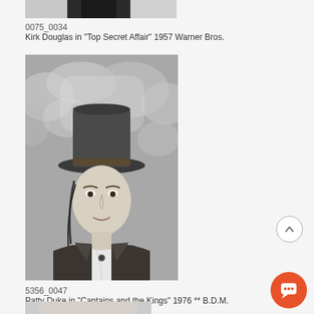[Figure (photo): Partial black and white photo at top of page, cropped — appears to show a person (Kirk Douglas) in dark clothing]
0075_0034
Kirk Douglas in "Top Secret Affair" 1957 Warner Bros.
[Figure (photo): Black and white portrait photograph of Patty Duke wearing a top hat and period costume jacket with white blouse, outdoors with foliage in background, from 'Captains and the Kings' 1976]
5356_0047
Patty Duke in "Captains and the Kings" 1976 ** B.D.M.
[Figure (photo): Partial photo visible at very bottom of the page, appears to be another catalog image]